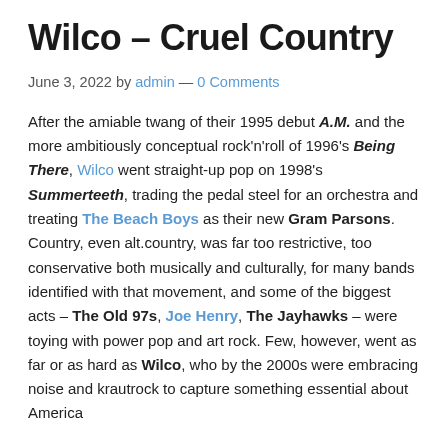Wilco – Cruel Country
June 3, 2022 by admin — 0 Comments
After the amiable twang of their 1995 debut A.M. and the more ambitiously conceptual rock'n'roll of 1996's Being There, Wilco went straight-up pop on 1998's Summerteeth, trading the pedal steel for an orchestra and treating The Beach Boys as their new Gram Parsons. Country, even alt.country, was far too restrictive, too conservative both musically and culturally, for many bands identified with that movement, and some of the biggest acts – The Old 97s, Joe Henry, The Jayhawks – were toying with power pop and art rock. Few, however, went as far or as hard as Wilco, who by the 2000s were embracing noise and krautrock to capture something essential about America